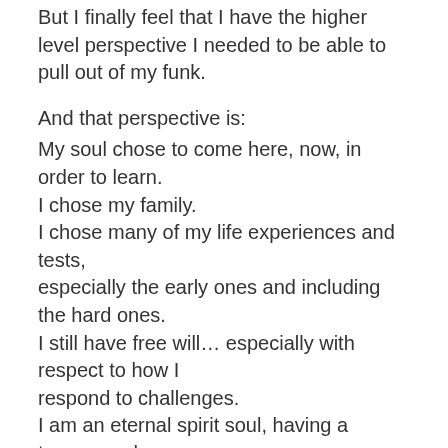But I finally feel that I have the higher level perspective I needed to be able to pull out of my funk.
And that perspective is:
My soul chose to come here, now, in order to learn.
I chose my family.
I chose many of my life experiences and tests, especially the early ones and including the hard ones.
I still have free will… especially with respect to how I respond to challenges.
I am an eternal spirit soul, having a temporary human experience for the purpose of my soul evolution and growth.
I am okay.
My spirit, and everyone else's spirit, is of the same loving essence.